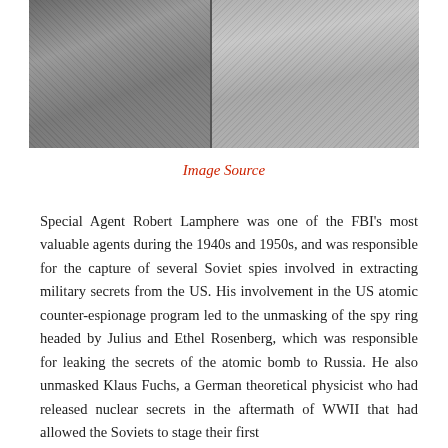[Figure (photo): Two black and white photographs side by side showing people in suits, torsos visible]
Image Source
Special Agent Robert Lamphere was one of the FBI's most valuable agents during the 1940s and 1950s, and was responsible for the capture of several Soviet spies involved in extracting military secrets from the US. His involvement in the US atomic counter-espionage program led to the unmasking of the spy ring headed by Julius and Ethel Rosenberg, which was responsible for leaking the secrets of the atomic bomb to Russia. He also unmasked Klaus Fuchs, a German theoretical physicist who had released nuclear secrets in the aftermath of WWII that had allowed the Soviets to stage their first